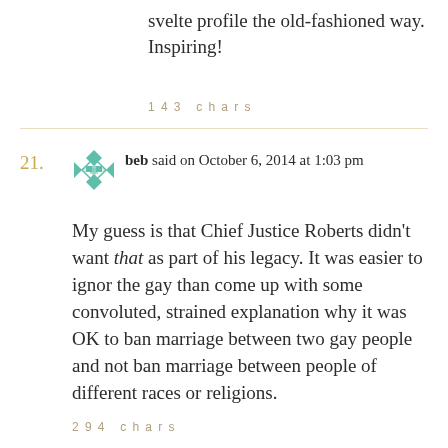svelte profile the old-fashioned way. Inspiring!
143 chars
21.
beb said on October 6, 2014 at 1:03 pm
My guess is that Chief Justice Roberts didn't want that as part of his legacy. It was easier to ignor the gay than come up with some convoluted, strained explanation why it was OK to ban marriage between two gay people and not ban marriage between people of different races or religions.
294 chars